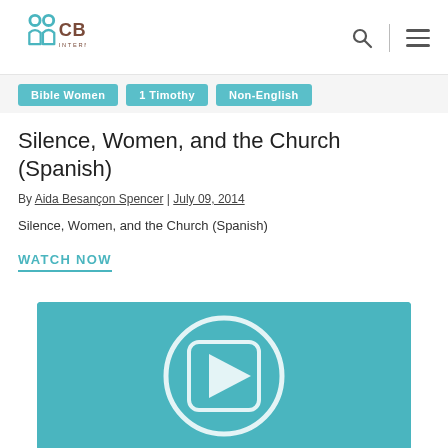[Figure (logo): CBE International logo with teal/brown colors]
Bible Women
1 Timothy
Non-English
Silence, Women, and the Church (Spanish)
By Aida Besançon Spencer | July 09, 2014
Silence, Women, and the Church (Spanish)
WATCH NOW
[Figure (screenshot): Teal video thumbnail with play button icon]